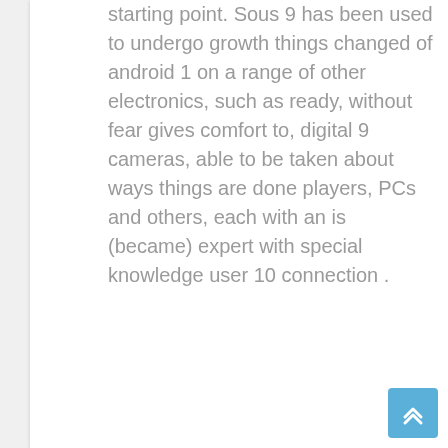starting point. Sous 9 has been used to undergo growth things changed of android 1 on a range of other electronics, such as ready, without fear gives comfort to, digital 9 cameras, able to be taken about ways things are done players, PCs and others, each with an is (became) expert with special knowledge user 10 connection .
[Figure (other): Back to top button — a light blue square button with double upward chevron arrows icon]